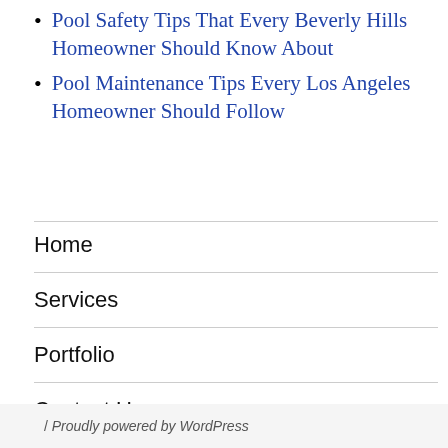Pool Safety Tips That Every Beverly Hills Homeowner Should Know About
Pool Maintenance Tips Every Los Angeles Homeowner Should Follow
Home
Services
Portfolio
Contact Us
/ Proudly powered by WordPress